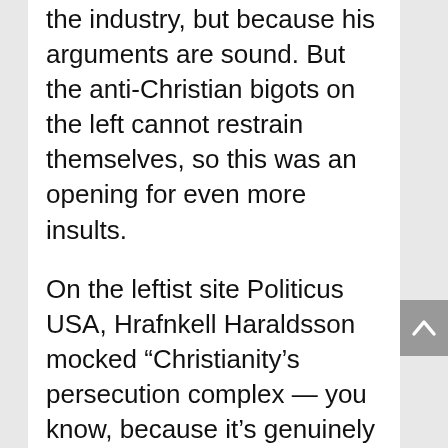the industry, but because his arguments are sound. But the anti-Christian bigots on the left cannot restrain themselves, so this was an opening for even more insults.
On the leftist site Politicus USA, Hrafnkell Haraldsson mocked “Christianity’s persecution complex — you know, because it’s genuinely funny that the world’s largest religion thinks it’s being persecuted.” Boone called the skit “vitriol,” and Haraldsson asserted that’s “a code word for people who don’t think a few people like Boone ought to tell us